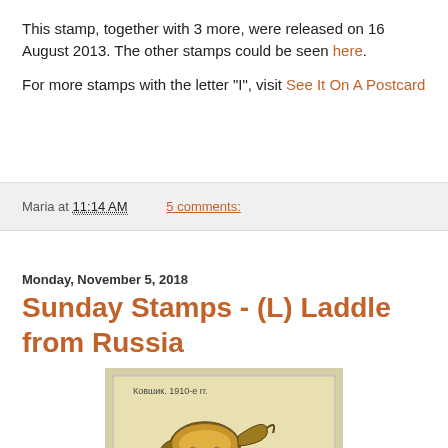This stamp, together with 3 more, were released on 16 August 2013. The other stamps could be seen here.
For more stamps with the letter "I", visit See It On A Postcard
Maria at 11:14 AM   5 comments:
Monday, November 5, 2018
Sunday Stamps - (L) Laddle from Russia
[Figure (photo): A Russian postage stamp showing a decorative ladle (kovsh) from 1910s, labeled Ковшик. 1910-е гг., with РОССИЯ text and denomination visible at bottom.]